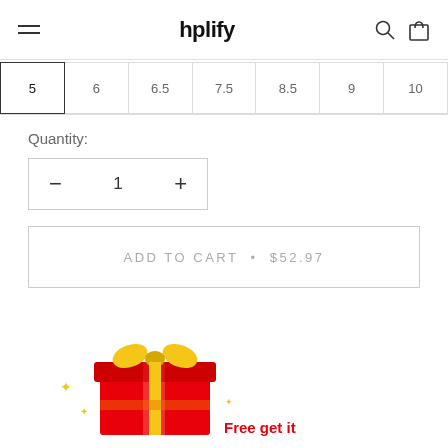hplify
5
6
6.5
7.5
8.5
9
10
Quantity:
1
ADD TO CART • $52.97
[Figure (illustration): Red gift box with gold ribbon and sparkles]
Free get it